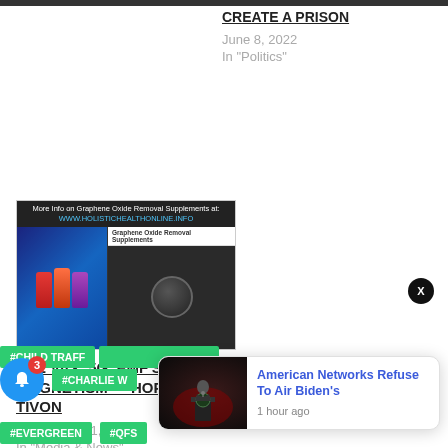CREATE A PRISON
June 8, 2022
In "Politics"
[Figure (screenshot): Thumbnail image showing supplement bottles against blue background and a video frame with a person, with text: More info on Graphene Oxide Removal Supplements at: WWW.HOLISTICHEALTHONLINE.INFO]
THE VAX, 5G, EMF'S & MAGNETISM — HOPE & TIVON
September 11, 2021
In "Media & News"
#CHILD TRAFF
#CHARLIE W
#EVERGREEN
#QFS
[Figure (screenshot): Popup notification showing a figure at a podium with text: American Networks Refuse To Air Biden's — 1 hour ago]